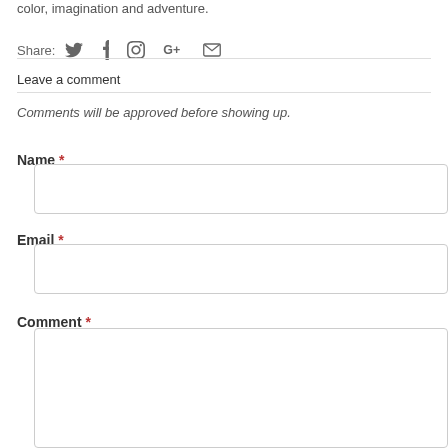color, imagination and adventure.
Share:
Leave a comment
Comments will be approved before showing up.
Name *
Email *
Comment *